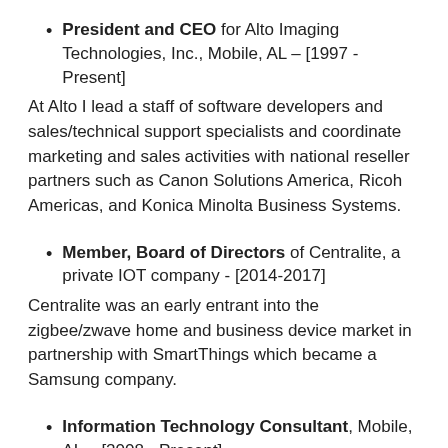President and CEO for Alto Imaging Technologies, Inc., Mobile, AL – [1997 - Present]
At Alto I lead a staff of software developers and sales/technical support specialists and coordinate marketing and sales activities with national reseller partners such as Canon Solutions America, Ricoh Americas, and Konica Minolta Business Systems.
Member, Board of Directors of Centralite, a private IOT company - [2014-2017]
Centralite was an early entrant into the zigbee/zwave home and business device market in partnership with SmartThings which became a Samsung company.
Information Technology Consultant, Mobile, AL – [2008 - Present]
Focus on strategic assessments of IT systems in small to medium size businesses. Develop simple or multi-phase